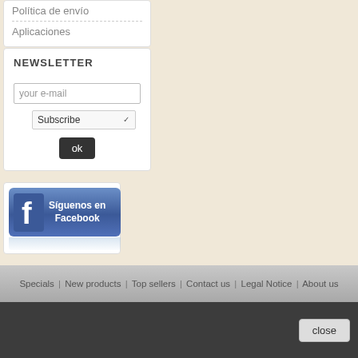Política de envío
Aplicaciones
NEWSLETTER
your e-mail
Subscribe
ok
[Figure (other): Facebook follow button with 'Síguenos en Facebook' text and Facebook logo]
Specials | New products | Top sellers | Contact us | Legal Notice | About us
close